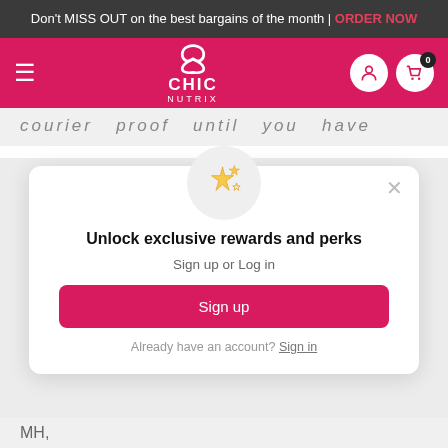Don't MISS OUT on the best bargains of the month | ORDER NOW
[Figure (logo): Chic Nutrix logo with pink navigation bar, hamburger menu, user icon, and cart icon with badge 0]
courier  proof  until  you  have
Unlock exclusive rewards and perks
Sign up or Log in
Sign up
Already have an account? Sign in
MH,